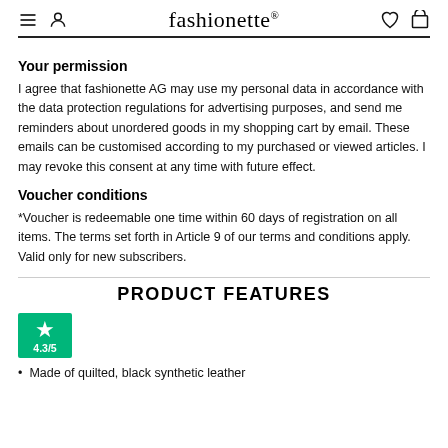fashionette®
Your permission
I agree that fashionette AG may use my personal data in accordance with the data protection regulations for advertising purposes, and send me reminders about unordered goods in my shopping cart by email. These emails can be customised according to my purchased or viewed articles. I may revoke this consent at any time with future effect.
Voucher conditions
*Voucher is redeemable one time within 60 days of registration on all items. The terms set forth in Article 9 of our terms and conditions apply. Valid only for new subscribers.
PRODUCT FEATURES
[Figure (logo): Trustpilot green badge with star and 4.3/5 rating]
Made of quilted, black synthetic leather